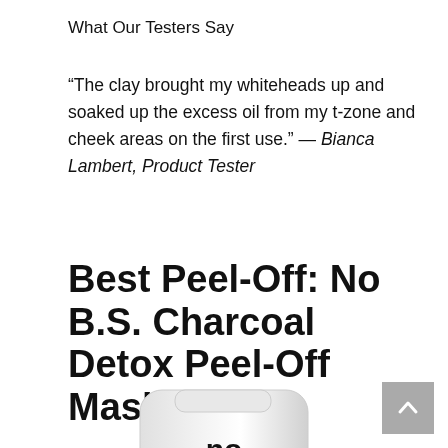What Our Testers Say
“The clay brought my whiteheads up and soaked up the excess oil from my t-zone and cheek areas on the first use.” — Bianca Lambert, Product Tester
Best Peel-Off: No B.S. Charcoal Detox Peel-Off Mask
[Figure (photo): White tube of No B.S. skincare product showing the brand name 'no b.s.' in bold black text on the tube]